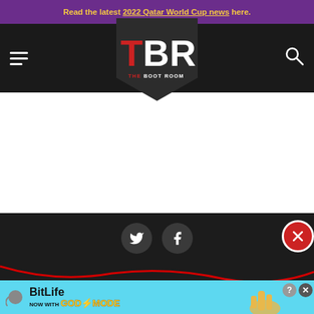Read the latest 2022 Qatar World Cup news here.
[Figure (logo): The Boot Room (TBR) website header with hamburger menu, TBR shield logo, and search icon on dark background]
[Figure (screenshot): White content area (page body content, appears blank/white)]
[Figure (screenshot): Dark footer area with Twitter and Facebook social icons and close button]
[Figure (illustration): BitLife advertisement banner with blue background, BitLife logo, NOW WITH GOD MODE text, lightning bolt, hand pointing, help and close buttons]